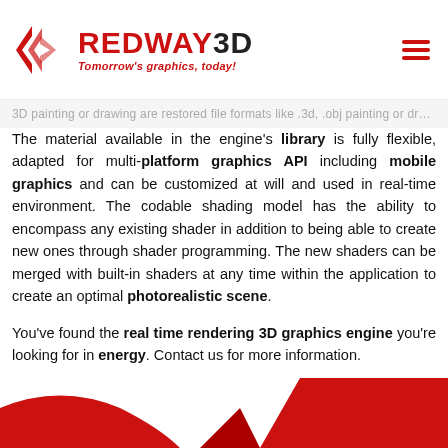REDWAY3D — Tomorrow's graphics, today!
The material available in the engine's library is fully flexible, adapted for multi-platform graphics API including mobile graphics and can be customized at will and used in real-time environment. The codable shading model has the ability to encompass any existing shader in addition to being able to create new ones through shader programming. The new shaders can be merged with built-in shaders at any time within the application to create an optimal photorealistic scene.
You've found the real time rendering 3D graphics engine you're looking for in energy. Contact us for more information.